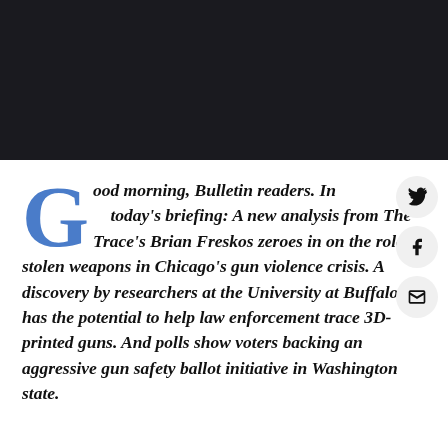[Figure (photo): Dark/black image area at top of page]
Good morning, Bulletin readers. In today's briefing: A new analysis from The Trace's Brian Freskos zeroes in on the role of stolen weapons in Chicago's gun violence crisis. A discovery by researchers at the University at Buffalo has the potential to help law enforcement trace 3D-printed guns. And polls show voters backing an aggressive gun safety ballot initiative in Washington state.